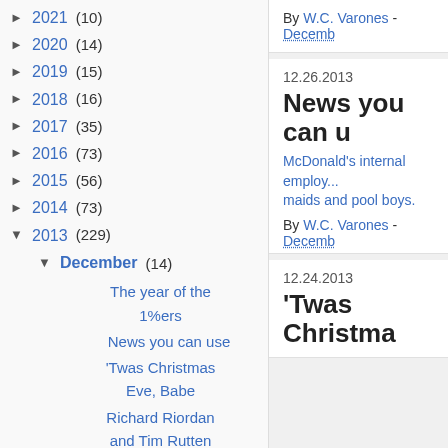► 2021 (10)
► 2020 (14)
► 2019 (15)
► 2018 (16)
► 2017 (35)
► 2016 (73)
► 2015 (56)
► 2014 (73)
▼ 2013 (229)
▼ December (14)
The year of the 1%ers
News you can use
'Twas Christmas Eve, Babe
Richard Riordan and Tim Rutten have absolutely
By W.C. Varones - Decemb...
12.26.2013
News you can u...
McDonald's internal employ... maids and pool boys.
By W.C. Varones - Decemb...
12.24.2013
'Twas Christma...